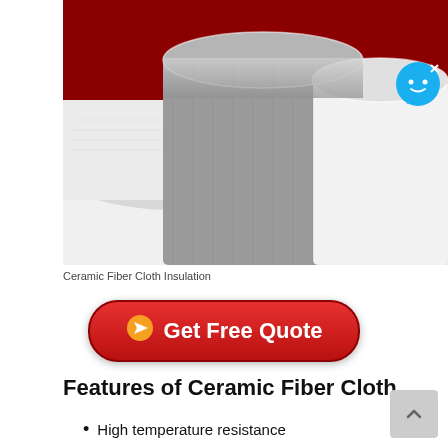[Figure (photo): Close-up photo of rolled ceramic fiber cloth insulation fabric in white and gray colors, against a dark red background.]
Ceramic Fiber Cloth Insulation
[Figure (other): Red rounded button labeled 'Get Free Quote' with an orange arrow icon]
Features of Ceramic Fiber Cloth
High temperature resistance